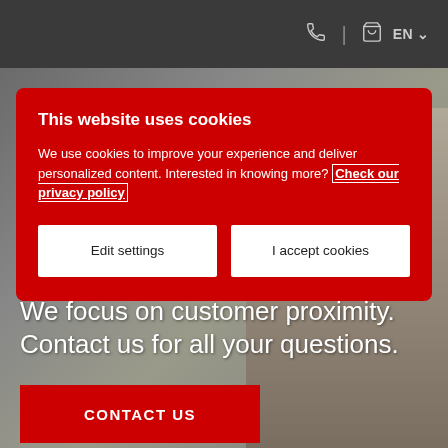EN (language selector with phone and cart icons)
This website uses cookies
We use cookies to improve your experience and deliver personalized content. Interested in knowing more? Check our privacy policy
Edit settings
I accept cookies
We focus on customer proximity. Contact us for all your questions.
CONTACT US